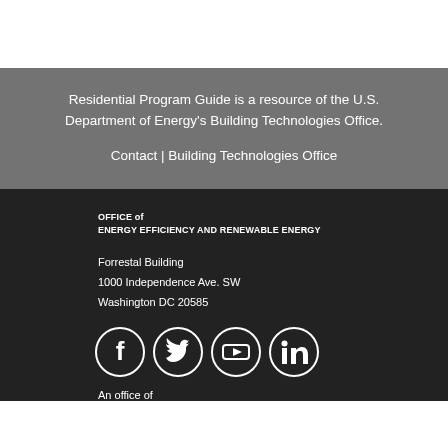Residential Program Guide is a resource of the U.S. Department of Energy's Building Technologies Office.
Contact | Building Technologies Office
OFFICE of
ENERGY EFFICIENCY AND RENEWABLE ENERGY
Forrestal Building
1000 Independence Ave. SW
Washington DC 20585
[Figure (other): Social media icons: Facebook, Twitter, YouTube, LinkedIn]
An office of